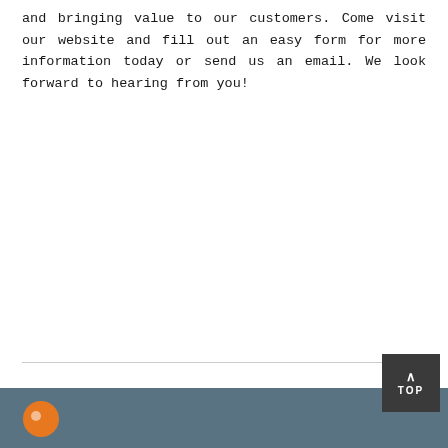and bringing value to our customers. Come visit our website and fill out an easy form for more information today or send us an email. We look forward to hearing from you!
TOP